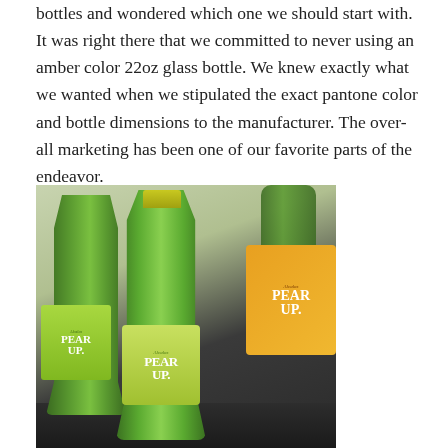bottles and wondered which one we should start with. It was right there that we committed to never using an amber color 22oz glass bottle. We knew exactly what we wanted when we stipulated the exact pantone color and bottle dimensions to the manufacturer. The over-all marketing has been one of our favorite parts of the endeavor.
[Figure (photo): Photo of green metallic Pear UP beverage bottles with label branding, alongside orange-colored packaging boxes, sitting on a dark surface]